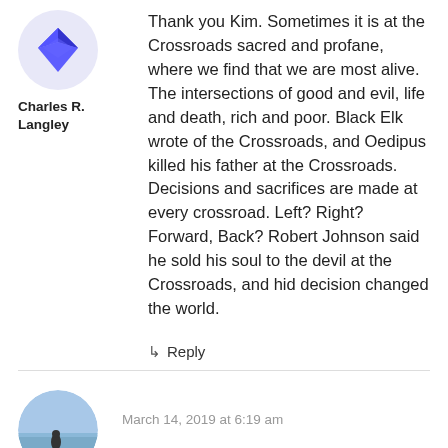[Figure (illustration): Blue geometric diamond/bow-tie avatar logo for Charles R. Langley]
Charles R.
Langley
Thank you Kim. Sometimes it is at the Crossroads sacred and profane, where we find that we are most alive. The intersections of good and evil, life and death, rich and poor. Black Elk wrote of the Crossroads, and Oedipus killed his father at the Crossroads. Decisions and sacrifices are made at every crossroad. Left? Right? Forward, Back? Robert Johnson said he sold his soul to the devil at the Crossroads, and hid decision changed the world.
↳ Reply
[Figure (photo): Circular avatar photo showing a person at the beach/ocean]
March 14, 2019 at 6:19 am